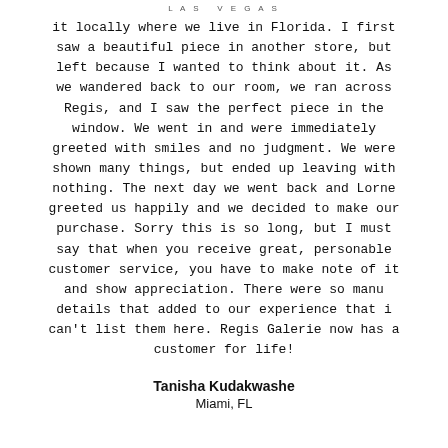LAS VEGAS
it locally where we live in Florida. I first saw a beautiful piece in another store, but left because I wanted to think about it. As we wandered back to our room, we ran across Regis, and I saw the perfect piece in the window. We went in and were immediately greeted with smiles and no judgment. We were shown many things, but ended up leaving with nothing. The next day we went back and Lorne greeted us happily and we decided to make our purchase. Sorry this is so long, but I must say that when you receive great, personable customer service, you have to make note of it and show appreciation. There were so manu details that added to our experience that i can't list them here. Regis Galerie now has a customer for life!
Tanisha Kudakwashe
Miami, FL